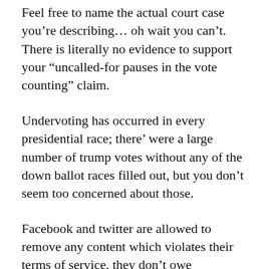Feel free to name the actual court case you’re describing… oh wait you can’t. There is literally no evidence to support your “uncalled-for pauses in the vote counting” claim.
Undervoting has occurred in every presidential race; there’ were a large number of trump votes without any of the down ballot races filled out, but you don’t seem too concerned about those.
Facebook and twitter are allowed to remove any content which violates their terms of service, they don’t owe